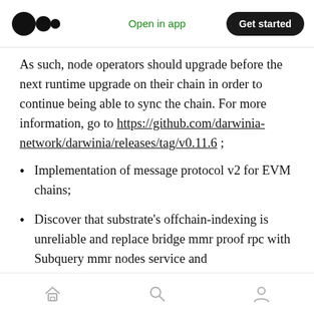Medium logo | Open in app | Get started
As such, node operators should upgrade before the next runtime upgrade on their chain in order to continue being able to sync the chain. For more information, go to https://github.com/darwinia-network/darwinia/releases/tag/v0.11.6 ;
Implementation of message protocol v2 for EVM chains;
Discover that substrate's offchain-indexing is unreliable and replace bridge mmr proof rpc with Subquery mmr nodes service and
Home | Search | Profile